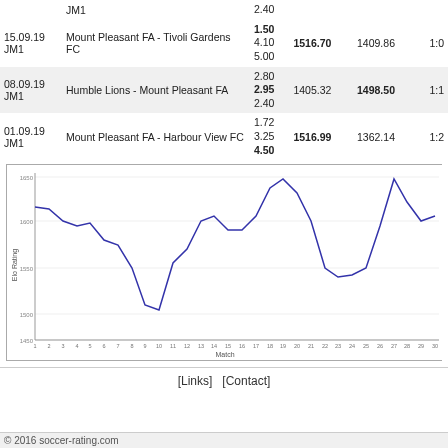| Date | Match | Odds | Rating1 | Rating2 | Score |
| --- | --- | --- | --- | --- | --- |
|  | JM1 | 2.40 |  |  |  |
| 15.09.19 JM1 | Mount Pleasant FA - Tivoli Gardens FC | 1.50
4.10
5.00 | 1516.70 | 1409.86 | 1:0 |
| 08.09.19 JM1 | Humble Lions - Mount Pleasant FA | 2.80
2.95
2.40 | 1405.32 | 1498.50 | 1:1 |
| 01.09.19 JM1 | Mount Pleasant FA - Harbour View FC | 1.72
3.25
4.50 | 1516.99 | 1362.14 | 1:2 |
[Figure (line-chart): Elo Rating over Matches]
[Links]  [Contact]
© 2016 soccer-rating.com